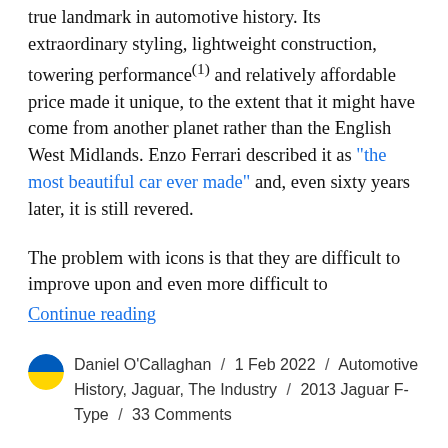true landmark in automotive history. Its extraordinary styling, lightweight construction, towering performance(1) and relatively affordable price made it unique, to the extent that it might have come from another planet rather than the English West Midlands. Enzo Ferrari described it as "the most beautiful car ever made" and, even sixty years later, it is still revered.
The problem with icons is that they are difficult to improve upon and even more difficult to
Continue reading
Daniel O'Callaghan / 1 Feb 2022 / Automotive History, Jaguar, The Industry / 2013 Jaguar F-Type / 33 Comments